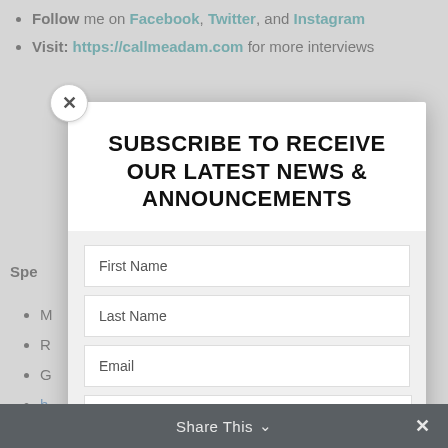Follow me on Facebook, Twitter, and Instagram
Visit: https://callmeadam.com for more interviews
Spe...
M... elo, R... olden G... h...
T... wQ)
F... l9CY)
E...
C... h...
SUBSCRIBE TO RECEIVE OUR LATEST NEWS & ANNOUNCEMENTS
First Name
Last Name
Email
SUBSCRIBE!
Share This ∨  ×